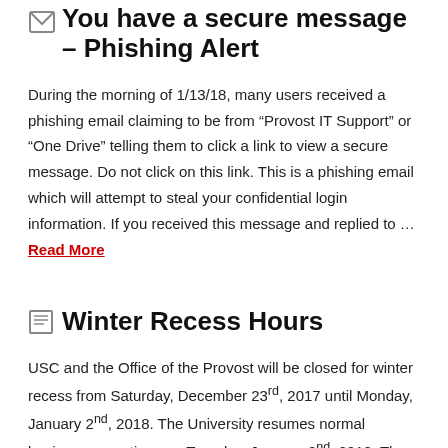You have a secure message – Phishing Alert
During the morning of 1/13/18, many users received a phishing email claiming to be from “Provost IT Support” or “One Drive” telling them to click a link to view a secure message. Do not click on this link. This is a phishing email which will attempt to steal your confidential login information. If you received this message and replied to … Read More
Winter Recess Hours
USC and the Office of the Provost will be closed for winter recess from Saturday, December 23rd, 2017 until Monday, January 2nd, 2018. The University resumes normal business operations on Tuesday, January 2nd, 2018. The USC Provost IT helpdesk will be